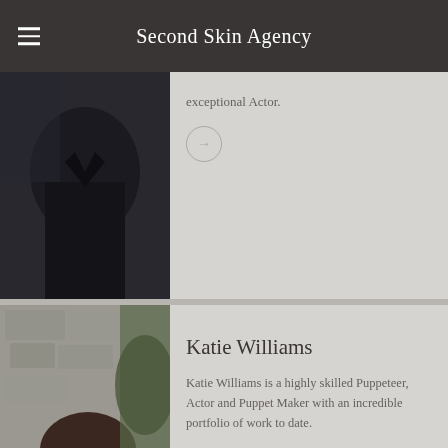Second Skin Agency
exceptional Actor.
Katie Williams
Katie Williams is a highly skilled Puppeteer, Actor and Puppet Maker with an incredible portfolio of work to date.
Laura M Tipper
Vastly experienced Actress and Movement Artist, Laura's brilliant